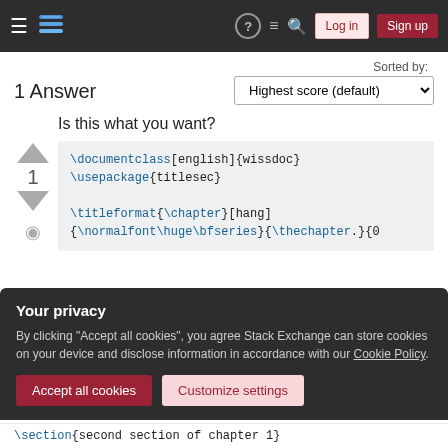Stack Exchange navigation bar with hamburger menu, logo, help, chat, search, login, signup
Sorted by:
1 Answer
Highest score (default)
Is this what you want?
1
\documentclass[english]{wissdoc}
\usepackage{titlesec}

\titleformat{\chapter}[hang]
{\normalfont\huge\bfseries}{\thechapter.}{0
Your privacy
By clicking "Accept all cookies", you agree Stack Exchange can store cookies on your device and disclose information in accordance with our Cookie Policy.
Accept all cookies  Customize settings
\section{second section of chapter 1}